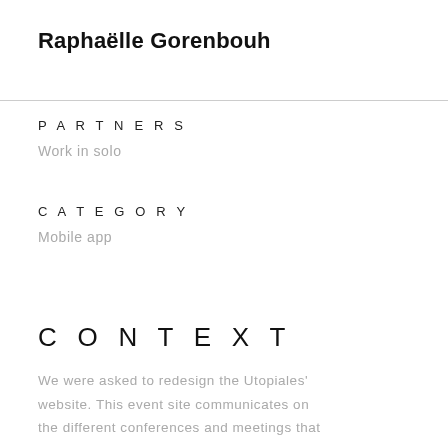Raphaëlle Gorenbouh
PARTNERS
Work in solo
CATEGORY
Mobile app
CONTEXT
We were asked to redesign the Utopiales' website. This event site communicates on the different conferences and meetings that